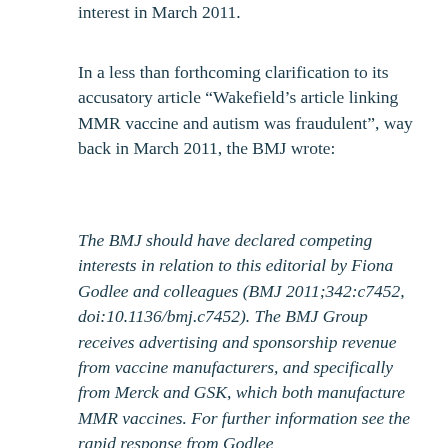interest in March 2011.
In a less than forthcoming clarification to its accusatory article “Wakefield’s article linking MMR vaccine and autism was fraudulent”, way back in March 2011, the BMJ wrote:
The BMJ should have declared competing interests in relation to this editorial by Fiona Godlee and colleagues (BMJ 2011;342:c7452, doi:10.1136/bmj.c7452). The BMJ Group receives advertising and sponsorship revenue from vaccine manufacturers, and specifically from Merck and GSK, which both manufacture MMR vaccines. For further information see the rapid response from Godlee (www.bmj.com/content/342/bmj.d1225.full/reply#